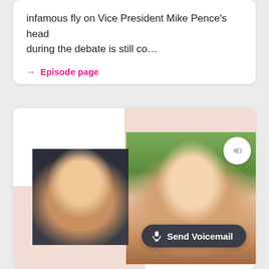infamous fly on Vice President Mike Pence's head during the debate is still co…
→ Episode page
[Figure (photo): Podcast episode card showing two blonde women: one outdoors smiling wearing a scarf, another in a dark background portrait. Peach/blush colored geometric background blocks. Sound/audio icon visible in top right corner of card.]
Send Voicemail